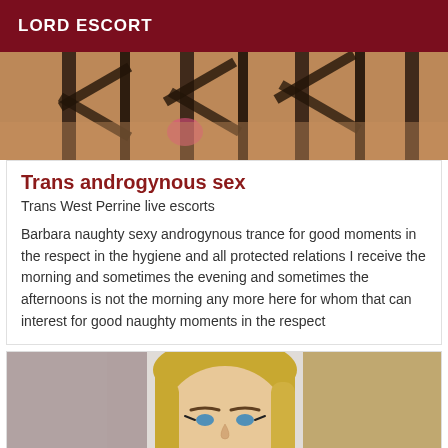LORD ESCORT
[Figure (photo): Blurred photo showing dark metal chair legs over a warm brown/orange floor]
Trans androgynous sex
Trans West Perrine live escorts
Barbara naughty sexy androgynous trance for good moments in the respect in the hygiene and all protected relations I receive the morning and sometimes the evening and sometimes the afternoons is not the morning any more here for whom that can interest for good naughty moments in the respect
[Figure (photo): Photo of a blonde woman with blue eyes and makeup looking at the camera]